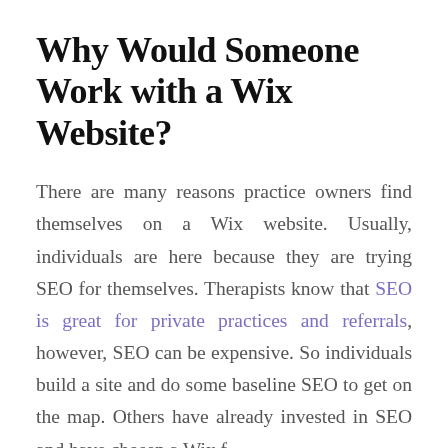Why Would Someone Work with a Wix Website?
There are many reasons practice owners find themselves on a Wix website. Usually, individuals are here because they are trying SEO for themselves. Therapists know that SEO is great for private practices and referrals, however, SEO can be expensive. So individuals build a site and do some baseline SEO to get on the map. Others have already invested in SEO and have chosen a Wix for…